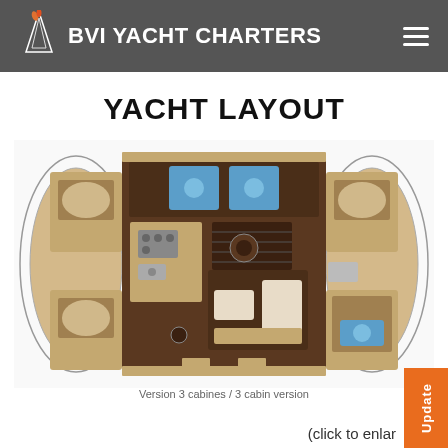BVI YACHT CHARTERS
YACHT LAYOUT
[Figure (engineering-diagram): Floor plan / layout diagram of a catamaran yacht showing 3 cabin version (Version 3 cabines / 3 cabin version). The top-down schematic shows two hulls on left and right with cabins, a central saloon area with galley and seating, navigation area, and bathrooms.]
Version 3 cabines / 3 cabin version
(click to enlarge